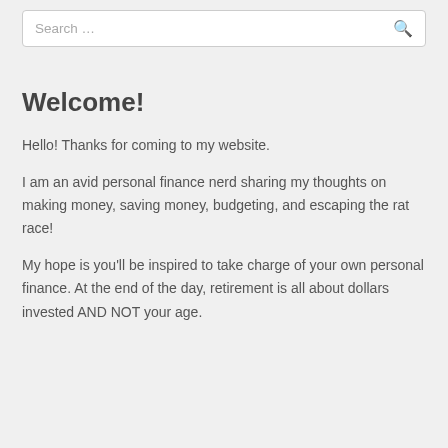Search …
Welcome!
Hello! Thanks for coming to my website.
I am an avid personal finance nerd sharing my thoughts on making money, saving money, budgeting, and escaping the rat race!
My hope is you'll be inspired to take charge of your own personal finance. At the end of the day, retirement is all about dollars invested AND NOT your age.